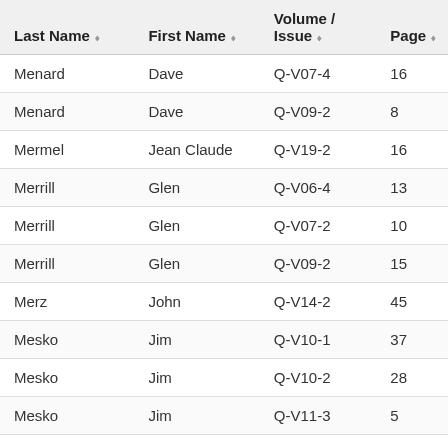| Last Name | First Name | Volume / Issue | Page |
| --- | --- | --- | --- |
| Menard | Dave | Q-V07-4 | 16 |
| Menard | Dave | Q-V09-2 | 8 |
| Mermel | Jean Claude | Q-V19-2 | 16 |
| Merrill | Glen | Q-V06-4 | 13 |
| Merrill | Glen | Q-V07-2 | 10 |
| Merrill | Glen | Q-V09-2 | 15 |
| Merz | John | Q-V14-2 | 45 |
| Mesko | Jim | Q-V10-1 | 37 |
| Mesko | Jim | Q-V10-2 | 28 |
| Mesko | Jim | Q-V11-3 | 5 |
| Mesko | Jim | Q-V12-1 | 22 |